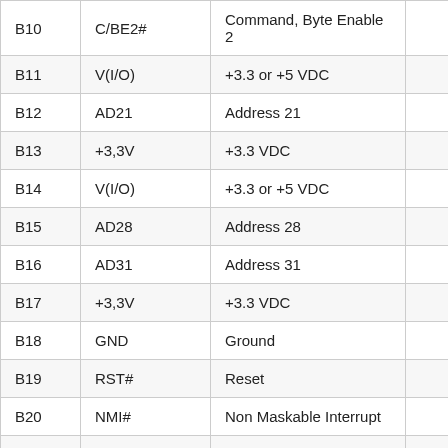| Pin | Signal | Description |  |
| --- | --- | --- | --- |
| B10 | C/BE2# | Command, Byte Enable 2 |  |
| B11 | V(I/O) | +3.3 or +5 VDC |  |
| B12 | AD21 | Address 21 |  |
| B13 | +3,3V | +3.3 VDC |  |
| B14 | V(I/O) | +3.3 or +5 VDC |  |
| B15 | AD28 | Address 28 |  |
| B16 | AD31 | Address 31 |  |
| B17 | +3,3V | +3.3 VDC |  |
| B18 | GND | Ground |  |
| B19 | RST# | Reset |  |
| B20 | NMI# | Non Maskable Interrupt |  |
| B21 | X6 | Reserved (6) |  |